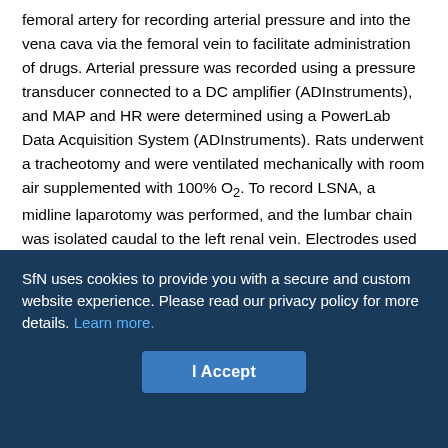femoral artery for recording arterial pressure and into the vena cava via the femoral vein to facilitate administration of drugs. Arterial pressure was recorded using a pressure transducer connected to a DC amplifier (ADInstruments), and MAP and HR were determined using a PowerLab Data Acquisition System (ADInstruments). Rats underwent a tracheotomy and were ventilated mechanically with room air supplemented with 100% O2. To record LSNA, a midline laparotomy was performed, and the lumbar chain was isolated caudal to the left renal vein. Electrodes used for recording LSNA consisted of two Teflon-insulated silver wires (0.005 inch diameter, 36 gauge; Medwire) threaded through SILASTIC tubing (0.025 inch inside diameter) and formed into a hook. The electrodes were placed around the isolated sympathetic chain and covered with
SfN uses cookies to provide you with a secure and custom website experience. Please read our privacy policy for more details. Learn more.